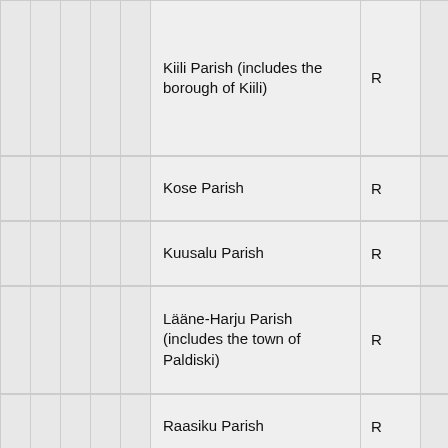|  |  |  |  |  | Name | Type |  |
| --- | --- | --- | --- | --- | --- | --- | --- |
|  |  |  |  |  | Kiili Parish (includes the borough of Kiili) | R |  |
|  |  |  |  |  | Kose Parish | R |  |
|  |  |  |  |  | Kuusalu Parish | R |  |
|  |  |  |  |  | Lääne-Harju Parish (includes the town of Paldiski) | R |  |
|  |  |  |  |  | Raasiku Parish | R |  |
|  |  |  |  |  | Rae Parish | R |  |
|  |  |  |  |  | Saku Parish | R |  |